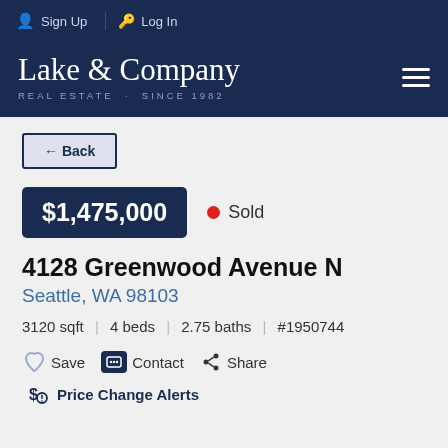Sign Up | Log In
[Figure (logo): Lake & Company Real Estate Since 1982 logo on dark navy background]
← Back
$1,475,000 • Sold
4128 Greenwood Avenue N
Seattle, WA 98103
3120 sqft | 4 beds | 2.75 baths | #1950744
Save  Contact  Share
Price Change Alerts